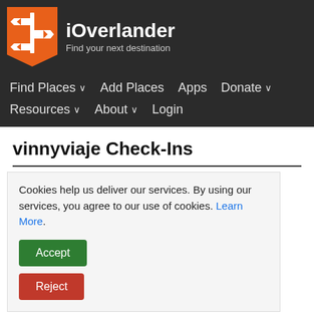[Figure (logo): iOverlander logo: orange shield/banner shape with white signpost icon]
iOverlander — Find your next destination
Find Places ∨   Add Places   Apps   Donate ∨   Resources ∨   About ∨   Login
vinnyviaje Check-Ins
| Date | Place | Comment |
| --- | --- | --- |
Cookies help us deliver our services. By using our services, you agree to our use of cookies. Learn More.
Accept
Reject